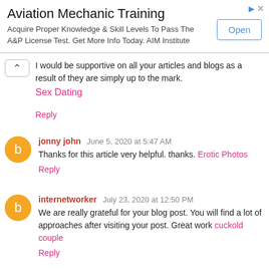[Figure (screenshot): Advertisement banner for Aviation Mechanic Training with Open button]
I would be supportive on all your articles and blogs as a result of they are simply up to the mark. Sex Dating Reply
jonny john  June 5, 2020 at 5:47 AM
Thanks for this article very helpful. thanks. Erotic Photos
Reply
internetworker  July 23, 2020 at 12:50 PM
We are really grateful for your blog post. You will find a lot of approaches after visiting your post. Great work cuckold couple
Reply